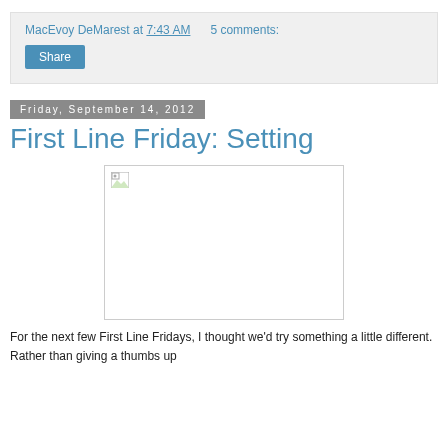MacEvoy DeMarest at 7:43 AM   5 comments:
Share
Friday, September 14, 2012
First Line Friday: Setting
[Figure (photo): Broken image placeholder with small image icon in top-left corner, white background with light gray border]
For the next few First Line Fridays, I thought we'd try something a little different. Rather than giving a thumbs up